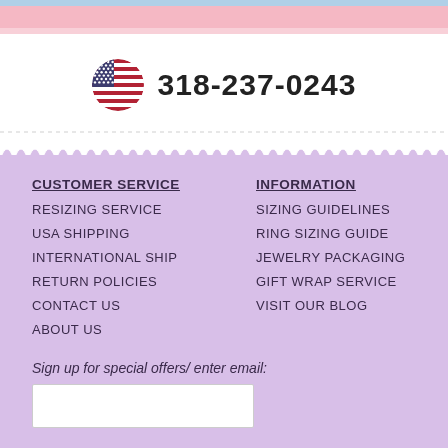318-237-0243
CUSTOMER SERVICE
RESIZING SERVICE
USA SHIPPING
INTERNATIONAL SHIP
RETURN POLICIES
CONTACT US
ABOUT US
INFORMATION
SIZING GUIDELINES
RING SIZING GUIDE
JEWELRY PACKAGING
GIFT WRAP SERVICE
VISIT OUR BLOG
Sign up for special offers/ enter email: